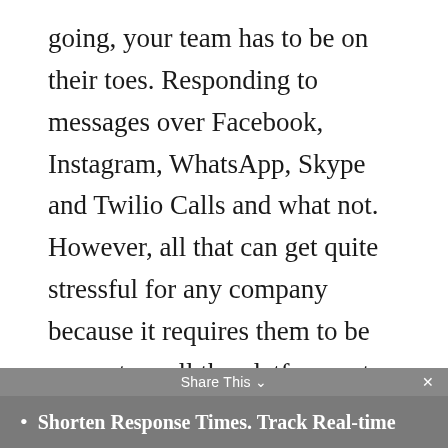going, your team has to be on their toes. Responding to messages over Facebook, Instagram, WhatsApp, Skype and Twilio Calls and what not. However, all that can get quite stressful for any company because it requires them to be present on all the platforms at once and respond quickly. This is where ChatHQ again saves the grace; allowing an easy way to communicate with your teams and customers without having to manage multiple platforms.
Shorten Response Times. Track Real-time